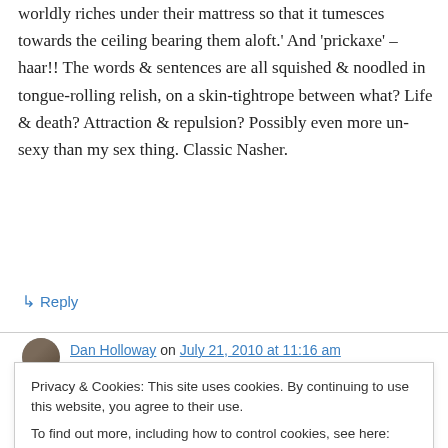worldly riches under their mattress so that it tumesces towards the ceiling bearing them aloft.' And 'prickaxe' – haar!! The words & sentences are all squished & noodled in tongue-rolling relish, on a skin-tightrope between what? Life & death? Attraction & repulsion? Possibly even more un-sexy than my sex thing. Classic Nasher.
↳ Reply
Dan Holloway on July 21, 2010 at 11:16 am
Privacy & Cookies: This site uses cookies. By continuing to use this website, you agree to their use.
To find out more, including how to control cookies, see here: Cookie Policy
Close and accept
to a single place… and a single bed in that place